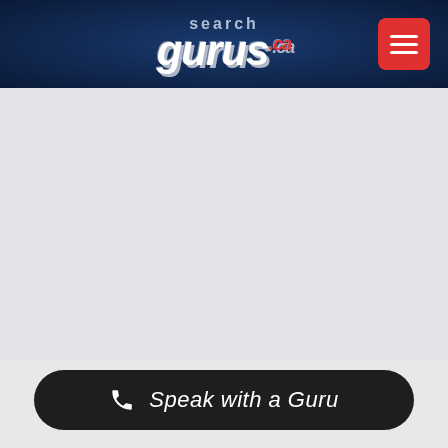[Figure (logo): SearchGurus.ca logo with white bold italic text on dark navy header, with a red hamburger menu button on the right]
Speak with a Guru